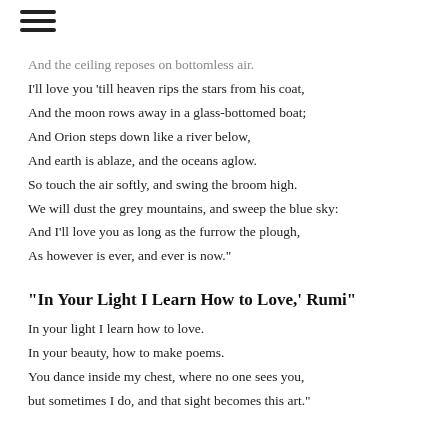[Figure (other): Hamburger menu icon (three horizontal lines)]
And the ceiling reposes on bottomless air.
I'll love you 'till heaven rips the stars from his coat,
And the moon rows away in a glass-bottomed boat;
And Orion steps down like a river below,
And earth is ablaze, and the oceans aglow.
So touch the air softly, and swing the broom high.
We will dust the grey mountains, and sweep the blue sky:
And I'll love you as long as the furrow the plough,
As however is ever, and ever is now."
"In Your Light I Learn How to Love,' Rumi"
In your light I learn how to love.
In your beauty, how to make poems.
You dance inside my chest, where no one sees you,
but sometimes I do, and that sight becomes this art."